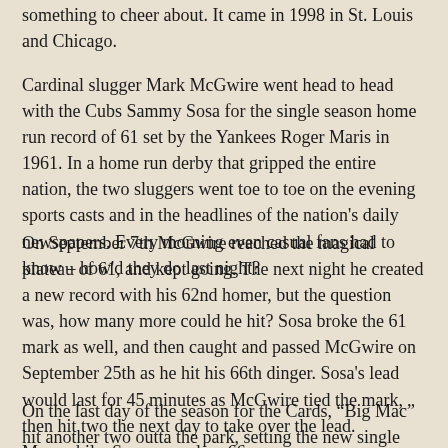something to cheer about. It came in 1998 in St. Louis and Chicago.
Cardinal slugger Mark McGwire went head to head with the Cubs Sammy Sosa for the single season home run record of 61 set by the Yankees Roger Maris in 1961. In a home run derby that gripped the entire nation, the two sluggers went toe to toe on the evening sports casts and in the headlines of the nation's daily newspapers. Every morning even casual fans had to know – how'd they do last night?
On September 7th McGwire reached the magical plateau of 61, and kept going. The next night he created a new record with his 62nd homer, but the question was, how many more could he hit? Sosa broke the 61 mark as well, and then caught and passed McGwire on September 25th as he hit his 66th dinger. Sosa's lead would last for 45 minutes as McGwire tied the mark, then hit two the next day to take over the lead. Meanwhile, Sosa paused on 66.
On the last day of the season for the Cards, “Big Mac” hit another two outta the park, setting the new single season home run record with 70 dingers. The final chapter was that